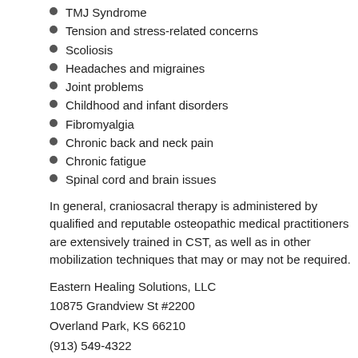TMJ Syndrome
Tension and stress-related concerns
Scoliosis
Headaches and migraines
Joint problems
Childhood and infant disorders
Fibromyalgia
Chronic back and neck pain
Chronic fatigue
Spinal cord and brain issues
In general, craniosacral therapy is administered by qualified and reputable oste... medical practitioners are extensively trained in CST, as well as in other mobiliza... that may or may not be required.
Eastern Healing Solutions, LLC
10875 Grandview St #2200
Overland Park, KS 66210
(913) 549-4322
http://www.overlandparkacupuncturist.com
Tags: Craniosacral Therapy
Chinese medicine | Ella
Comments are closed.